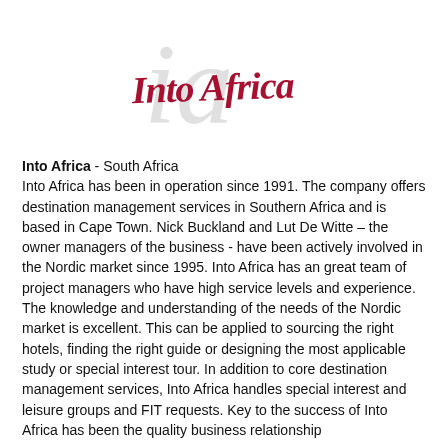[Figure (logo): Into Africa company logo with stylized calligraphic text 'Into Africa' in dark red/crimson and a large gray italic 'ia' letterform in the background]
Into Africa - South Africa
Into Africa has been in operation since 1991. The company offers destination management services in Southern Africa and is based in Cape Town. Nick Buckland and Lut De Witte – the owner managers of the business - have been actively involved in the Nordic market since 1995. Into Africa has an great team of project managers who have high service levels and experience. The knowledge and understanding of the needs of the Nordic market is excellent. This can be applied to sourcing the right hotels, finding the right guide or designing the most applicable study or special interest tour. In addition to core destination management services, Into Africa handles special interest and leisure groups and FIT requests. Key to the success of Into Africa has been the quality business relationship